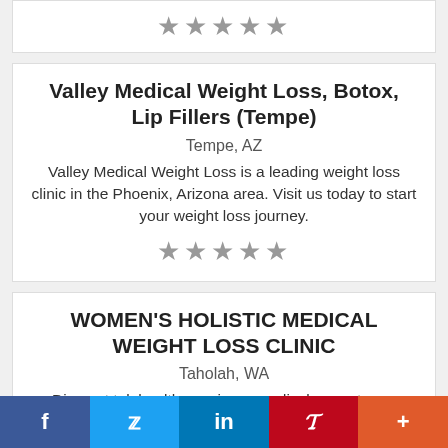★★★★★
Valley Medical Weight Loss, Botox, Lip Fillers (Tempe)
Tempe, AZ
Valley Medical Weight Loss is a leading weight loss clinic in the Phoenix, Arizona area. Visit us today to start your weight loss journey.
★★★★★
WOMEN'S HOLISTIC MEDICAL WEIGHT LOSS CLINIC
Taholah, WA
Discreet telehealth concierge medical care at your fingertips. Premium one-on-one consultations:
f  Twitter  in  Pinterest  +